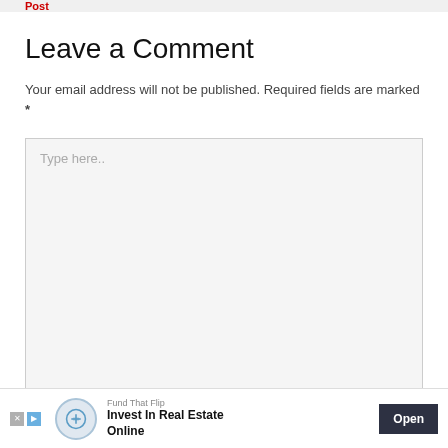Post
Leave a Comment
Your email address will not be published. Required fields are marked *
Type here..
[Figure (infographic): Advertisement banner: Fund That Flip — Invest In Real Estate Online, with Open button and logo icon]